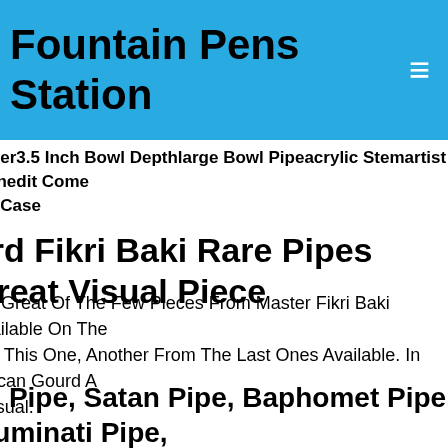Fountain Pens Station
meter3.5 Inch Bowl Depthlarge Bowl Pipeacrylic Stemartist Signedit Come ted Case
urd Fikri Baki Rare Pipes Great Visual Piece
her Great Of The Few Pieces From Master Fikri Baki Available On The ket. This One, Another From The Last Ones Available. In African Gourd A t Visual.
vil Pipe, Satan Pipe, Baphomet Pipe, Illuminati Pipe, tom, Briar Pipe
t Briar Briar Wood Is A Component Of The Plant That Grows Just Above n Arborea's Root Structure. The Thick Roots, Also Known As "tree Heath, Out Of The Ground By Hand And Then Divided Into Small Blocks Known s.